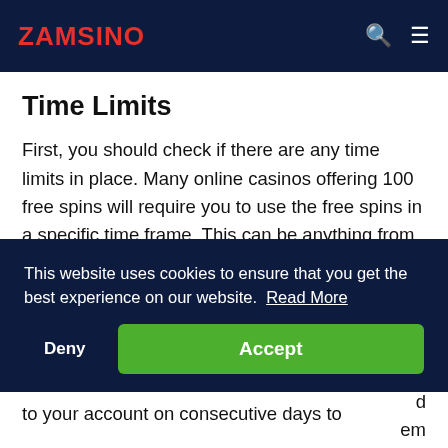ZAMSINO
Time Limits
First, you should check if there are any time limits in place. Many online casinos offering 100 free spins will require you to use the free spins in a specific time frame. This can be anything from a couple of hours to a few days. Don't lose those spins by forgetting to use them!
This website uses cookies to ensure that you get the best experience on our website. Read More
to your account on consecutive days to